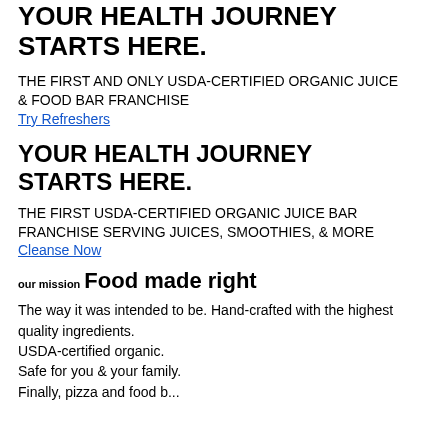YOUR HEALTH JOURNEY STARTS HERE.
THE FIRST AND ONLY USDA-CERTIFIED ORGANIC JUICE & FOOD BAR FRANCHISE
Try Refreshers
YOUR HEALTH JOURNEY STARTS HERE.
THE FIRST USDA-CERTIFIED ORGANIC JUICE BAR FRANCHISE SERVING JUICES, SMOOTHIES, & MORE
Cleanse Now
our mission
Food made right
The way it was intended to be. Hand-crafted with the highest quality ingredients.
USDA-certified organic.
Safe for you & your family.
Finally, pizza and food b...